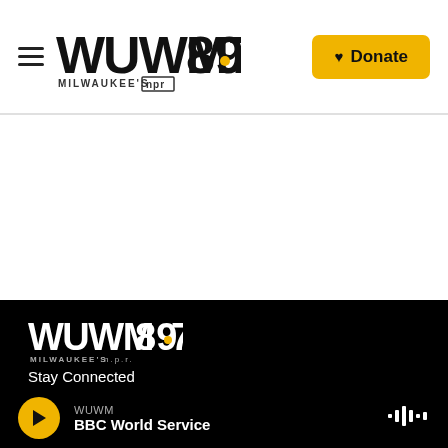WUWM 89.7 Milwaukee's NPR — Donate
[Figure (logo): WUWM 89.7 Milwaukee's NPR logo in footer on black background]
Stay Connected
[Figure (infographic): Social media icons: Twitter, Instagram, Facebook]
WUWM BBC World Service